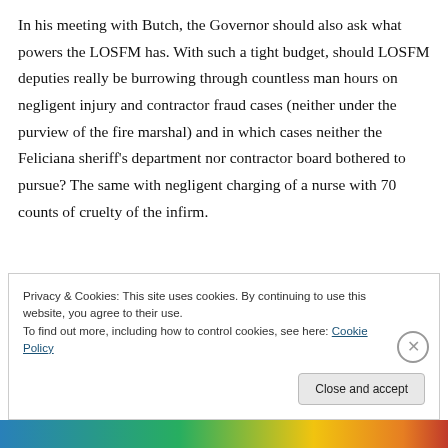In his meeting with Butch, the Governor should also ask what powers the LOSFM has. With such a tight budget, should LOSFM deputies really be burrowing through countless man hours on negligent injury and contractor fraud cases (neither under the purview of the fire marshal) and in which cases neither the Feliciana sheriff's department nor contractor board bothered to pursue? The same with negligent charging of a nurse with 70 counts of cruelty of the infirm.
Privacy & Cookies: This site uses cookies. By continuing to use this website, you agree to their use.
To find out more, including how to control cookies, see here: Cookie Policy